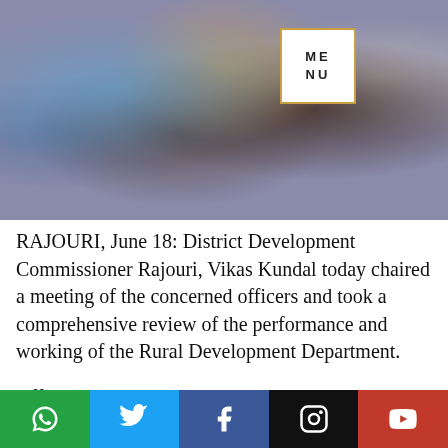[Figure (photo): Blurred photo of people in a meeting, heads visible, colourful clothing, out of focus background.]
RAJOURI, June 18: District Development Commissioner Rajouri, Vikas Kundal today chaired a meeting of the concerned officers and took a comprehensive review of the performance and working of the Rural Development Department.
Officers who attended the meeting included ADDC, Pawan Kumar; ACD, Vijay Kumar; CPO, Mohammad